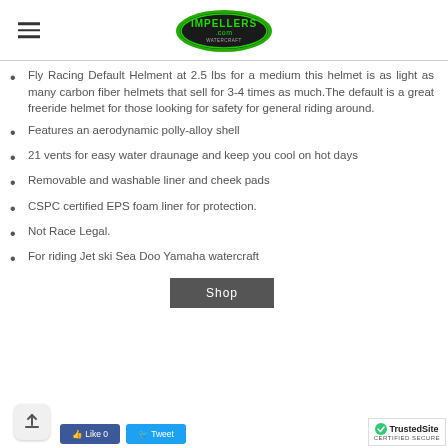Impellers.com logo and navigation
Fly Racing Default Helment at 2.5 lbs for a medium this helmet is as light as many carbon fiber helmets that sell for 3-4 times as much.The default is a great freeride helmet for those looking for safety for general riding around.
Features an aerodynamic polly-alloy shell
21 vents for easy water draunage and keep you cool on hot days
Removable and washable liner and cheek pads
CSPC certified EPS foam liner for protection.
Not Race Legal.
For riding Jet ski Sea Doo Yamaha watercraft